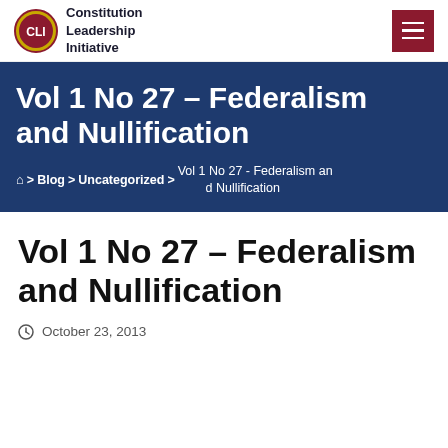Constitution Leadership Initiative
Vol 1 No 27 – Federalism and Nullification
Home > Blog > Uncategorized > Vol 1 No 27 - Federalism and Nullification
Vol 1 No 27 – Federalism and Nullification
October 23, 2013